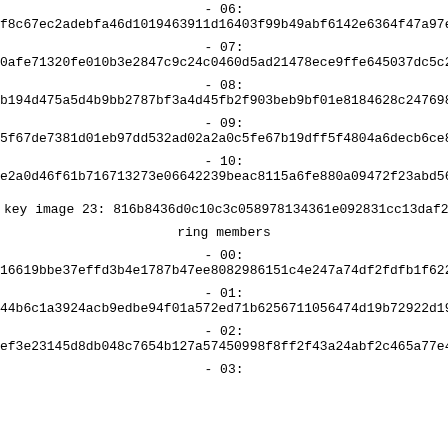- 06: f8c67ec2adebfa46d1019463911d16403f99b49abf6142e6364f47a97ec0...
- 07: 0afe71320fe010b3e2847c9c24c0460d5ad21478ece9ffe645037dc5c2e9...
- 08: b194d475a5d4b9bb2787bf3a4d45fb2f903beb9bf01e8184628c247698b2...
- 09: 5f67de7381d01eb97dd532ad02a2a0c5fe67b19dff5f4804a6decb6ce825...
- 10: e2a0d46f61b716713273e06642239beac8115a6fe880a09472f23abd5612...
key image 23: 816b8436d0c10c3c058978134361e092831cc13daf278f9...
ring members
- 00: 16619bbe37effd3b4e1787b47ee8082986151c4e247a74df2fdfb1f622c3...
- 01: 44b6c1a3924acb9edbe94f01a572ed71b62567110564 74d19b72922d19c6...
- 02: ef3e23145d8db048c7654b127a57450998f8ff2f43a24abf2c465a77e404...